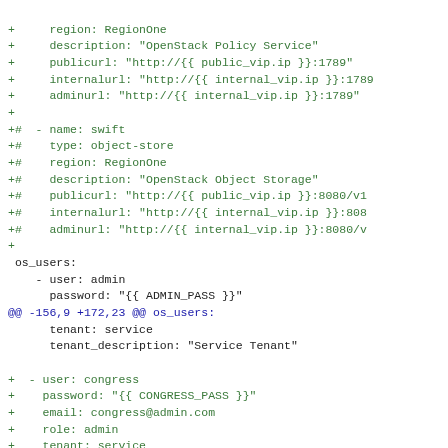diff/patch code snippet showing git diff output with added lines (green +), commented-out lines (+#), context lines, hunk header (blue @@), and removed lines (red -)